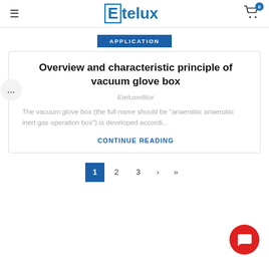Etelux
APPLICATION
Overview and characteristic principle of vacuum glove box
Eteluxeditor
The vacuum glove box (the full name should be "anaerobic anaerobic inert gas operation box") is developed accordi...
CONTINUE READING
1  2  3  ›  »